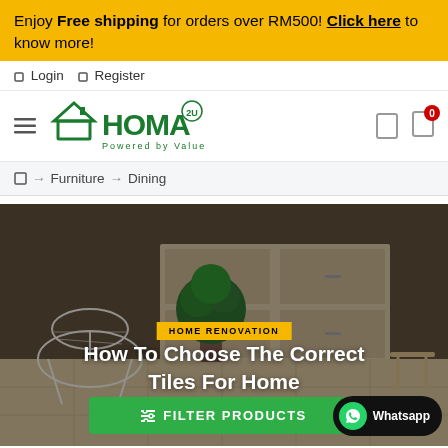Enjoy Free shipping for orders over RM500! Click here to know more!
Login   Register
[Figure (logo): HOMA 2U logo — green house icon with HOMA text, Powered by Values tagline, 2U superscript in circle]
Home → Furniture → Dining
[Figure (photo): Dining room/home renovation banner image showing white wire chair, green topiary plant, and light-colored cabinetry in background]
HOME RENOVATION
How To Choose The Correct Tiles For Home
FILTER PRODUCTS
Whatsapp